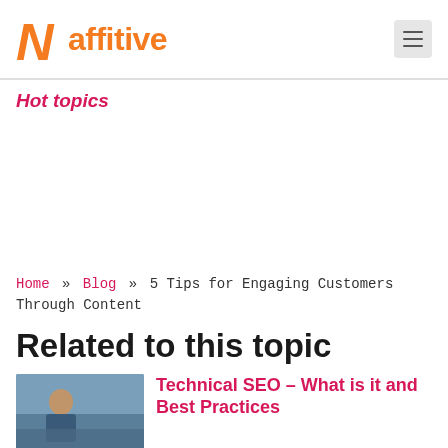Naffitive [logo with hamburger menu]
Hot topics
[Figure (other): Advertisement / blank ad area]
Home » Blog » 5 Tips for Engaging Customers Through Content
Related to this topic
[Figure (photo): Thumbnail image for Technical SEO article showing a person working]
Technical SEO – What is it and Best Practices